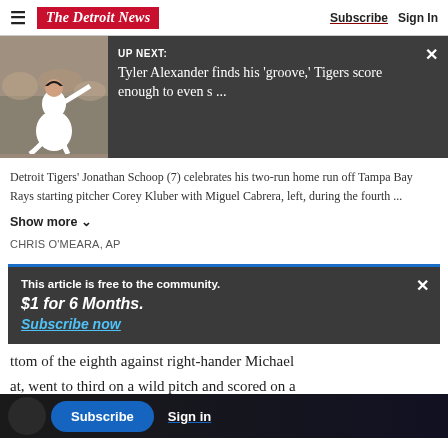The Detroit News | Subscribe | Sign In
[Figure (photo): UP NEXT: Tyler Alexander finds his 'groove,' Tigers score enough to even s ... — banner with baseball pitcher photo on dark background]
Detroit Tigers' Jonathan Schoop (7) celebrates his two-run home run off Tampa Bay Rays starting pitcher Corey Kluber with Miguel Cabrera, left, during the fourth ...
Show more
CHRIS O'MEARA, AP
This article is free to the community.
$1 for 6 Months.
Subscribe now
ttom of the eighth against right-hander Michael
Subscribe   Sign in
at, went to third on a wild pitch and scored on a